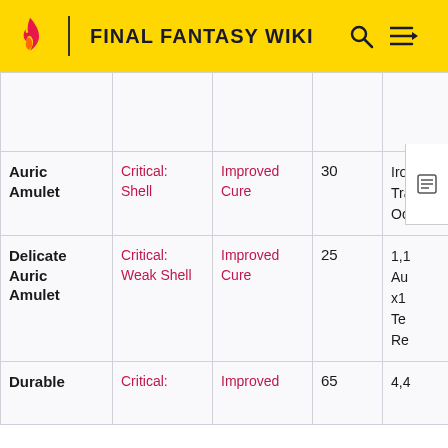FINAL FANTASY WIKI
| Name | On-Critical | Augment | Cost | Obtain |
| --- | --- | --- | --- | --- |
|  |  |  |  |  |
| Auric Amulet | Critical: Shell | Improved Cure | 30 | Iro
Tra
Oc |
| Delicate Auric Amulet | Critical: Weak Shell | Improved Cure | 25 | 1,1
Au
x1
Te
Re |
| Durable | Critical: | Improved | 65 | 4,4 |